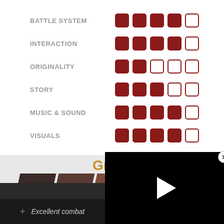BATTLE SYSTEM — 4/5 filled
INTERACTION — 4/5 filled
ORIGINALITY — 2/5 filled
STORY — 3/5 filled
MUSIC & SOUND — 4/5 filled
VISUALS — 4/5 filled
Great
PS4
40-60 HOURS
+ Excellent combat